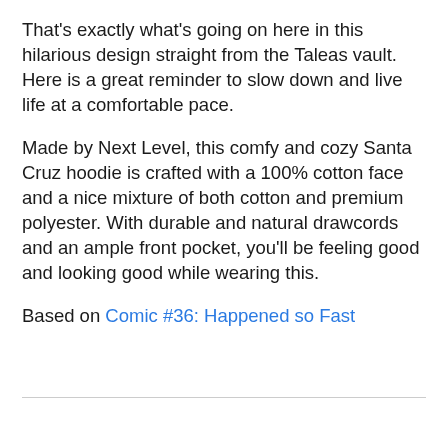That's exactly what's going on here in this hilarious design straight from the Taleas vault. Here is a great reminder to slow down and live life at a comfortable pace.
Made by Next Level, this comfy and cozy Santa Cruz hoodie is crafted with a 100% cotton face and a nice mixture of both cotton and premium polyester. With durable and natural drawcords and an ample front pocket, you'll be feeling good and looking good while wearing this.
Based on Comic #36: Happened so Fast